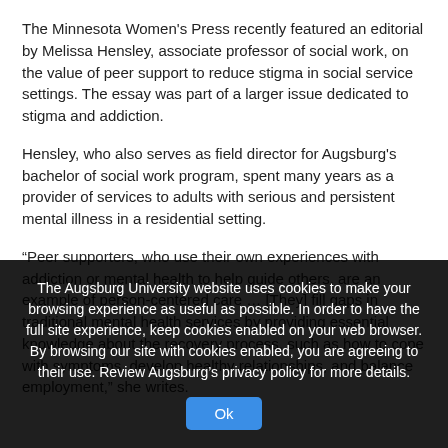The Minnesota Women's Press recently featured an editorial by Melissa Hensley, associate professor of social work, on the value of peer support to reduce stigma in social service settings. The essay was part of a larger issue dedicated to stigma and addiction.
Hensley, who also serves as field director for Augsburg's bachelor of social work program, spent many years as a provider of services to adults with serious and persistent mental illness in a residential setting.
“Peer supporters, who use their own experiences with addiction or mental health to help guide others, are an example of person-centered care … [They] fill gaps in traditional mental health services by providing essential knowledge about the recovery process, such as how to cope with symptoms, develop healthy relationships, and balance employment,” she writes.
The Augsburg University website uses cookies to make your browsing experience as useful as possible. In order to have the full site experience, keep cookies enabled on your web browser. By browsing our site with cookies enabled, you are agreeing to their use. Review Augsburg’s privacy policy for more details.